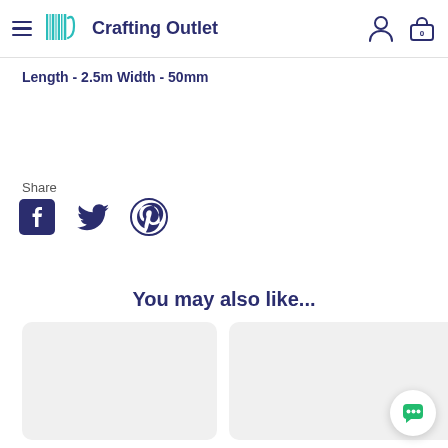Crafting Outlet
Length - 2.5m Width - 50mm
Share
[Figure (other): Social share icons: Facebook, Twitter, Pinterest]
You may also like...
[Figure (other): Product card placeholder (light grey card)]
[Figure (other): Partial product card placeholder (light grey card, cropped at edge)]
[Figure (other): Chat support button (green speech bubble icon)]